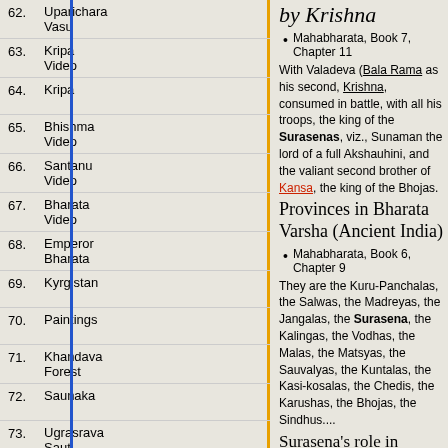by Krishna
Mahabharata, Book 7, Chapter 11
With Valadeva (Bala Rama as his second, Krishna, consumed in battle, with all his troops, the king of the Surasenas, viz., Sunaman the lord of a full Akshauhini, and the valiant second brother of Kansa, the king of the Bhojas.
Provinces in Bharata Varsha (Ancient India)
Mahabharata, Book 6, Chapter 9
They are the Kuru-Panchalas, the Salwas, the Madreyas, the Jangalas, the Surasena, the Kalingas, the Vodhas, the Malas, the Matsyas, the Sauvalyas, the Kuntalas, the Kasi-kosalas, the Chedis, the Karushas, the Bhojas, the Sindhus....
Surasena's role in Kurukshetra War
The 12 tribes who protected Bhishma on Day 1
Mahabharata, Book 6, Chapter 18
62. Uparichara Vasu
63. Kripa Video
64. Kripa
65. Bhishma Video
66. Santanu Video
67. Bharata Video
68. Emperor Bharata
69. Kyrgistan
70. Paintings
71. Khandava Forest
72. Saunaka
73. Ugrasrava Sauti
74. King Bharata
75. Sanjaya
76. Vaisampavana